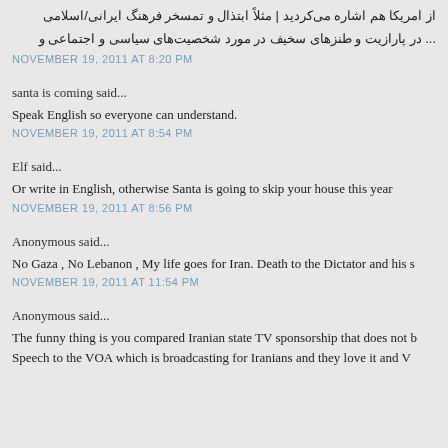از امریکا هم اشاره می‌کردید | مثلاً ابتذال و تمسخر فرهنگ ایرانی/اسلامی ... در پارازیت و طنزهای سخیف در مورد شخصیت‌های سیاسی و اجتماعی و
NOVEMBER 19, 2011 AT 8:20 PM
santa is coming said...
Speak English so everyone can understand.
NOVEMBER 19, 2011 AT 8:54 PM
Elf said...
Or write in English, otherwise Santa is going to skip your house this year
NOVEMBER 19, 2011 AT 8:56 PM
Anonymous said...
No Gaza , No Lebanon , My life goes for Iran. Death to the Dictator and his s
NOVEMBER 19, 2011 AT 11:54 PM
Anonymous said...
The funny thing is you compared Iranian state TV sponsorship that does not b Speech to the VOA which is broadcasting for Iranians and they love it and V